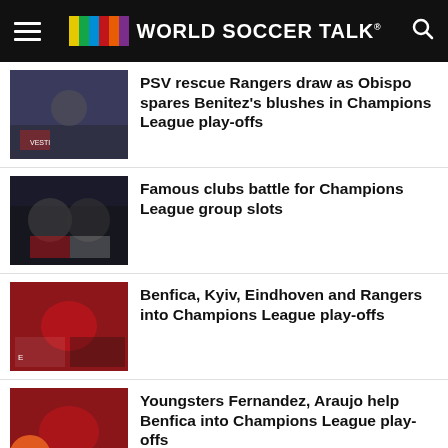WORLD SOCCER TALK
PSV rescue Rangers draw as Obispo spares Benitez's blushes in Champions League play-offs
Famous clubs battle for Champions League group slots
Benfica, Kyiv, Eindhoven and Rangers into Champions League play-offs
Youngsters Fernandez, Araujo help Benfica into Champions League play-offs